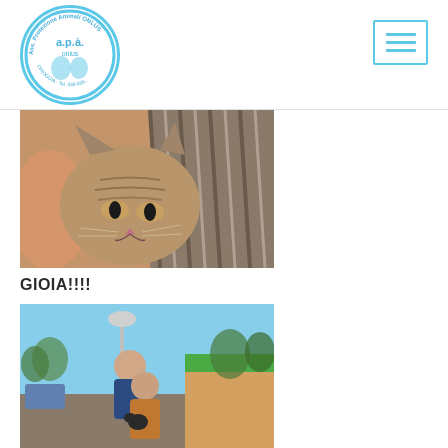APÀ ONLUS Associazione Protezione Animali - Chioggia - Tel. 349 ...
[Figure (photo): Close-up photo of a tabby cat nestled in striped fabric/blanket, looking at camera]
GIOIA!!!!
[Figure (photo): Outdoor photo of two people crouching with a small dog outside a shelter building with green roof, taken at golden hour]